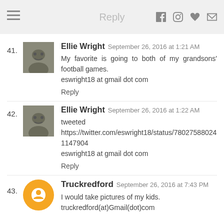Reply
41. Ellie Wright September 26, 2016 at 1:21 AM — My favorite is going to both of my grandsons' football games. eswright18 at gmail dot com — Reply
42. Ellie Wright September 26, 2016 at 1:22 AM — tweeted https://twitter.com/eswright18/status/780275880241147904 eswright18 at gmail dot com — Reply
43. Truckredford September 26, 2016 at 7:43 PM — I would take pictures of my kids. truckredford(at)Gmail(dot)com